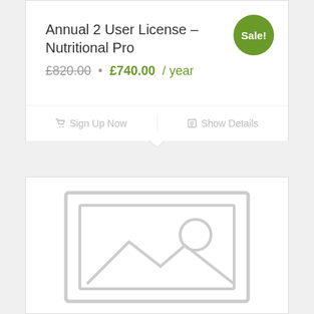Annual 2 User License – Nutritional Pro
£820.00 • £740.00 / year
Sale!
Sign Up Now
Show Details
[Figure (illustration): Placeholder product image with a frame icon showing a landscape/mountain and sun symbol, light grey on white background]